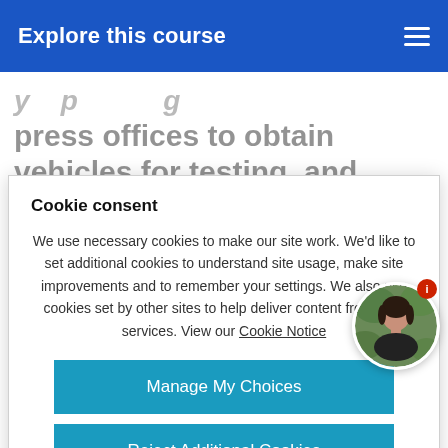Explore this course
press offices to obtain vehicles for testing, and
Cookie consent
We use necessary cookies to make our site work. We'd like to set additional cookies to understand site usage, make site improvements and to remember your settings. We also use cookies set by other sites to help deliver content from their services. View our Cookie Notice
Manage My Choices
Reject Additional Cookies
Accept Additional Cookies
[Figure (photo): Round avatar photo of a woman with dark hair, wearing a black top, with green foliage background. A red notification badge with 'i' icon is overlaid at top right of the circle.]